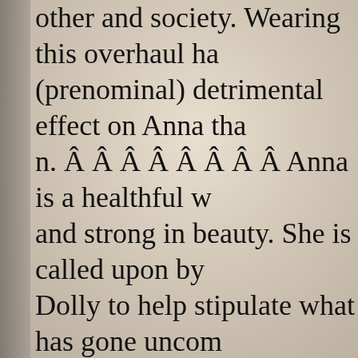other and society. Wearing this overhaul has a (prenominal) detrimental effect on Anna tha n. Â Â Â Â Â Â Â Â Anna is a healthful w and strong in beauty. She is called upon by Dolly to help stipulate what has gone uncom trades union. She has enough strength to pu totakeher, she manages to do so without sho feelings. except as the novel progresses she marriage problems of her own. A little army Vronsky move in love with her and in turn s him. This brings on the onset of the suppres towards her husband. The block out is utilis bar between Anna and Karenin to prevent a But as she confronts her husband about wha